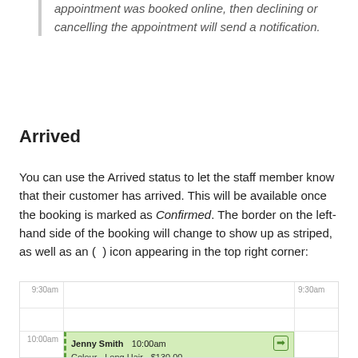appointment was booked online, then declining or cancelling the appointment will send a notification.
Arrived
You can use the Arrived status to let the staff member know that their customer has arrived. This will be available once the booking is marked as Confirmed. The border on the left-hand side of the booking will change to show up as striped, as well as an ( ) icon appearing in the top right corner:
[Figure (screenshot): Calendar view screenshot showing a booking for Jenny Smith at 10:00am for Colour - Long Hair - $130.00. The booking block has a dashed left border (striped effect) and an arrived icon in the top right. Time labels 9:30am, 10:00am, 10:30am, 11:00am are visible.]